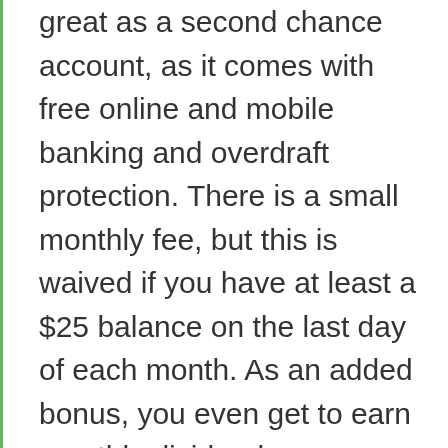great as a second chance account, as it comes with free online and mobile banking and overdraft protection. There is a small monthly fee, but this is waived if you have at least a $25 balance on the last day of each month. As an added bonus, you even get to earn monthly dividends on your